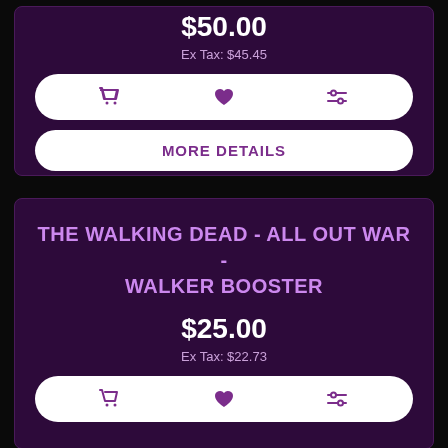$50.00
Ex Tax: $45.45
[Figure (screenshot): Action icon bar with cart, heart, and compare icons on white pill-shaped background]
MORE DETAILS
THE WALKING DEAD - ALL OUT WAR - WALKER BOOSTER
$25.00
Ex Tax: $22.73
[Figure (screenshot): Action icon bar with cart, heart, and compare icons on white pill-shaped background]